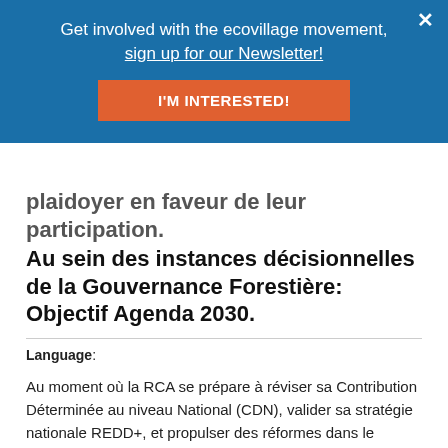[Figure (screenshot): Blue banner overlay with newsletter signup prompt and orange CTA button]
plaidoyer en faveur de leur participation. Au sein des instances décisionnelles de la Gouvernance Forestière: Objectif Agenda 2030.
Language:
Au moment où la RCA se prépare à réviser sa Contribution Déterminée au niveau National (CDN), valider sa stratégie nationale REDD+, et propulser des réformes dans le secteur forestier, fort est de constater que d'une part, les intérêts spécifiques des femmes sont littéralement absents de ces processus, et d'autre part, que les femmes rurales qui subissent les impacts de tous ces problèmes … Read more